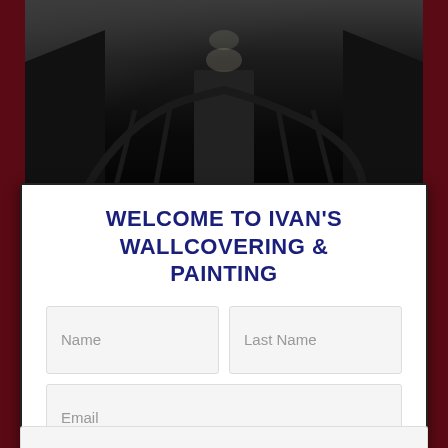[Figure (photo): Dark interior photograph of a hallway or staircase with dark walls and dim lighting, viewed from a low angle looking up toward a ceiling light]
WELCOME TO IVAN'S WALLCOVERING & PAINTING
Name
Last Name
Email
Phone